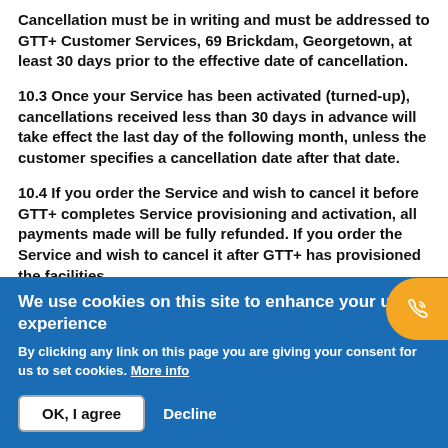Cancellation must be in writing and must be addressed to GTT+ Customer Services, 69 Brickdam, Georgetown, at least 30 days prior to the effective date of cancellation.
10.3 Once your Service has been activated (turned-up), cancellations received less than 30 days in advance will take effect the last day of the following month, unless the customer specifies a cancellation date after that date.
10.4 If you order the Service and wish to cancel it before GTT+ completes Service provisioning and activation, all payments made will be fully refunded. If you order the Service and wish to cancel it after GTT+ has provisioned the facilities
We use cookies on this site to enhance your user experience
By clicking any link on this page you are giving your consent for us to set cookies. More info
OK, I agree   Decline